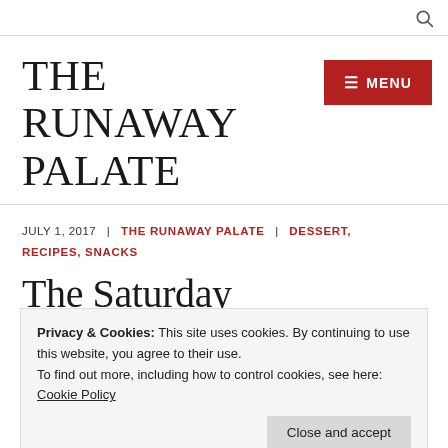🔍
THE RUNAWAY PALATE
JULY 1, 2017  |  THE RUNAWAY PALATE  |  DESSERT, RECIPES, SNACKS
The Saturday Decker Delight
Privacy & Cookies: This site uses cookies. By continuing to use this website, you agree to their use.
To find out more, including how to control cookies, see here: Cookie Policy
Close and accept